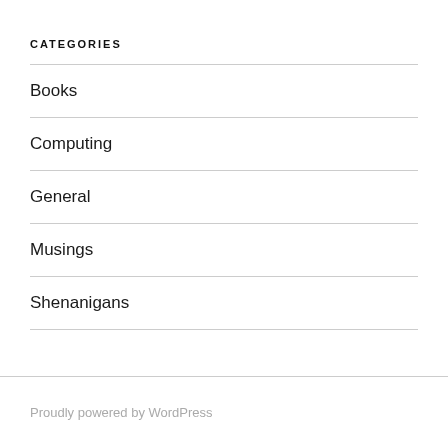CATEGORIES
Books
Computing
General
Musings
Shenanigans
Proudly powered by WordPress